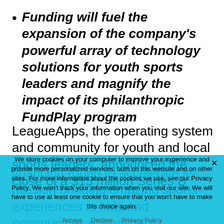Funding will fuel the expansion of the company's powerful array of technology solutions for youth sports leaders and magnify the impact of its philanthropic FundPlay program
LeagueApps, the operating system and community for youth and local sports leaders, announced the close of a $15 million Series B financing round to accelerate its mission bringing amazing sports experiences to kids and communities everywhere.
We store cookies on your computer to improve your experience and provide more personalized services, both on this website and on other sites. For more information about the cookies we use, see our Privacy Policy. We won't track your information when you visit our site. We will have to use at least one cookie to ensure that you won't have to make this choice again.
Accept   Decline   Privacy Policy